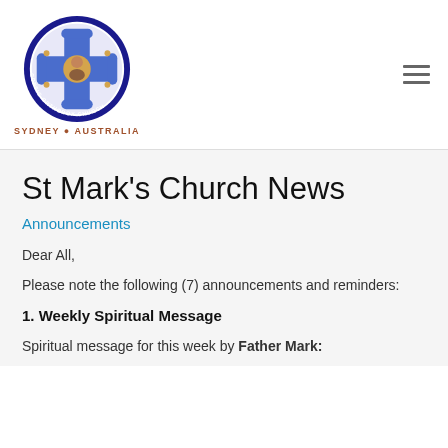[Figure (logo): St Mark Coptic Orthodox Church Sydney Australia circular logo with blue border, cross and saint figure in center]
St Mark's Church News
Announcements
Dear All,
Please note the following (7) announcements and reminders:
1. Weekly Spiritual Message
Spiritual message for this week by Father Mark: